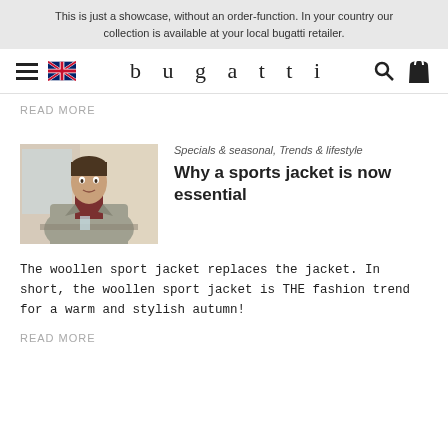This is just a showcase, without an order-function. In your country our collection is available at your local bugatti retailer.
[Figure (logo): Bugatti brand navigation bar with hamburger menu, UK flag, brand name 'bugatti', search icon and bag icon]
READ MORE
[Figure (photo): Man wearing a grey woollen sport jacket seated at a table]
Specials & seasonal, Trends & lifestyle
Why a sports jacket is now essential
The woollen sport jacket replaces the jacket. In short, the woollen sport jacket is THE fashion trend for a warm and stylish autumn!
READ MORE